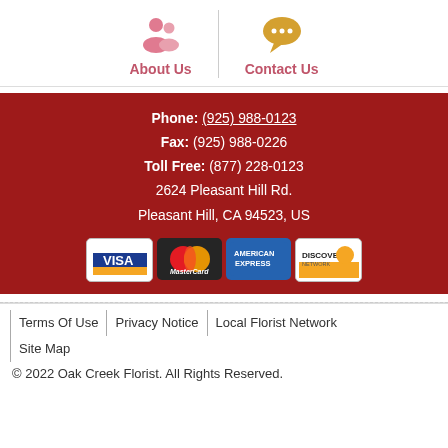[Figure (illustration): Navigation icons: pink people icon for About Us and gold speech bubble icon for Contact Us, separated by a vertical line, with colored labels below each icon]
Phone: (925) 988-0123
Fax: (925) 988-0226
Toll Free: (877) 228-0123
2624 Pleasant Hill Rd.
Pleasant Hill, CA 94523, US
[Figure (illustration): Row of payment card logos: VISA, MasterCard, American Express, Discover]
Terms Of Use  |  Privacy Notice  |  Local Florist Network  |  Site Map
© 2022 Oak Creek Florist. All Rights Reserved.